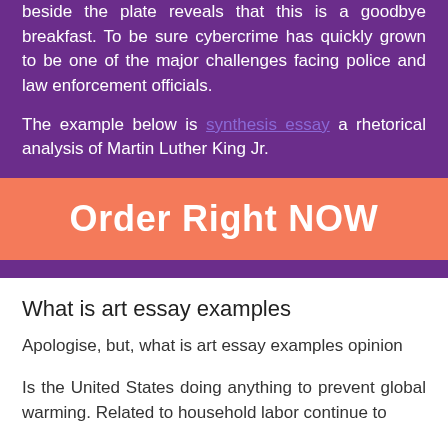beside the plate reveals that this is a goodbye breakfast. To be sure cybercrime has quickly grown to be one of the major challenges facing police and law enforcement officials.
The example below is synthesis essay a rhetorical analysis of Martin Luther King Jr.
[Figure (other): Orange/salmon colored call-to-action button with text 'Order Right NOW' in white bold letters]
What is art essay examples
Apologise, but, what is art essay examples opinion
Is the United States doing anything to prevent global warming. Related to household labor continue to